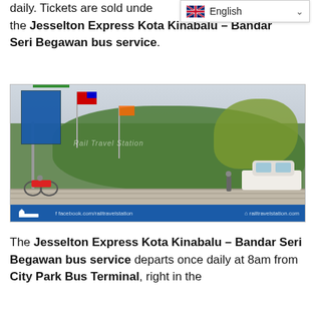daily. Tickets are sold under the Jesselton Express Kota Kinabalu – Bandar Seri Begawan bus service.
[Figure (photo): Outdoor photo showing a bus/transport terminal area with a tall billboard sign, flagpoles with Malaysian flags, trees, a parked white pickup truck, and a person walking. Blue footer bar with Rail Travel Station logo, facebook.com/railtravelstation and railtravelstation.com links.]
The Jesselton Express Kota Kinabalu – Bandar Seri Begawan bus service departs once daily at 8am from City Park Bus Terminal, right in the